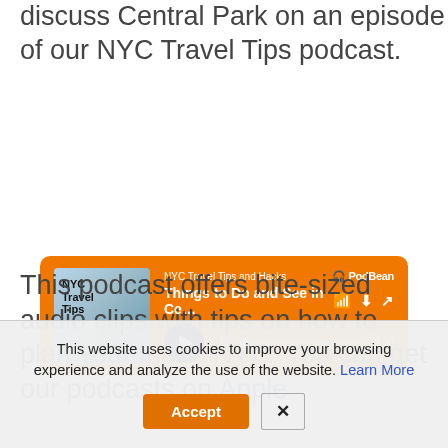discuss Central Park on an episode of our NYC Travel Tips podcast.
[Figure (screenshot): PodBean audio player widget with orange background showing NYC Travel Tips and Hacks podcast, episode 'Things to Do and See in Ce...' with play button, progress bar showing 0:00 / -0:00, and album art with NYC Travel Tips text]
This podcast offers bite-sized audio clips with tips on how to plan your trip to NYC. You can get our podcasts on Apple
This website uses cookies to improve your browsing experience and analyze the use of the website. Learn More
Accept  X